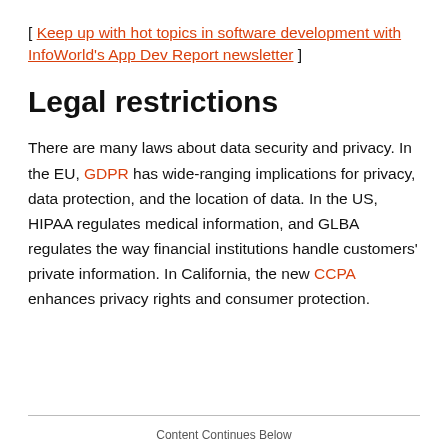[ Keep up with hot topics in software development with InfoWorld's App Dev Report newsletter ]
Legal restrictions
There are many laws about data security and privacy. In the EU, GDPR has wide-ranging implications for privacy, data protection, and the location of data. In the US, HIPAA regulates medical information, and GLBA regulates the way financial institutions handle customers' private information. In California, the new CCPA enhances privacy rights and consumer protection.
Content Continues Below